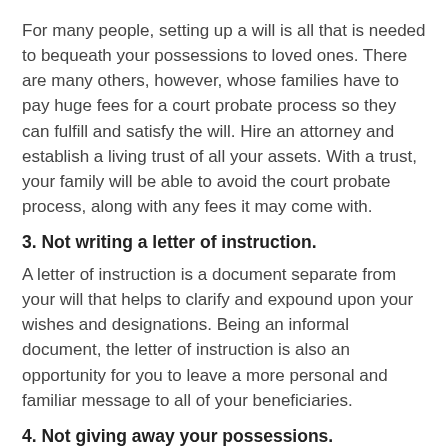For many people, setting up a will is all that is needed to bequeath your possessions to loved ones. There are many others, however, whose families have to pay huge fees for a court probate process so they can fulfill and satisfy the will. Hire an attorney and establish a living trust of all your assets. With a trust, your family will be able to avoid the court probate process, along with any fees it may come with.
3. Not writing a letter of instruction.
A letter of instruction is a document separate from your will that helps to clarify and expound upon your wishes and designations. Being an informal document, the letter of instruction is also an opportunity for you to leave a more personal and familiar message to all of your beneficiaries.
4. Not giving away your possessions.
Estate taxes can be enormous, making for a greater burden on your heirs. To help reduce the taxes on your loved ones, give each beneficiary a portion of what you had already planned on giving them after you die. Now, having far fewer possessions, update your declarations on your estate documents. This will make your estate much less of a tax burden without short-changing your loved ones